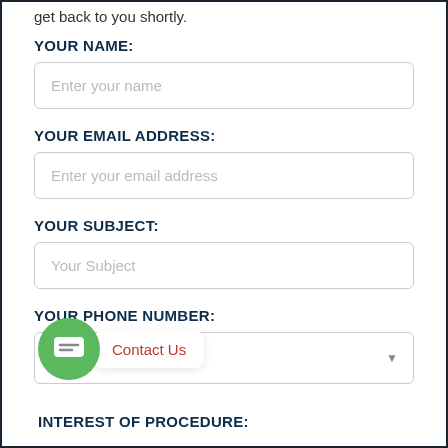get back to you shortly.
YOUR NAME:
Enter your name
YOUR EMAIL ADDRESS:
Enter your email address
YOUR SUBJECT:
Your Subject
YOUR PHONE NUMBER:
Contact Us
INTEREST OF PROCEDURE: